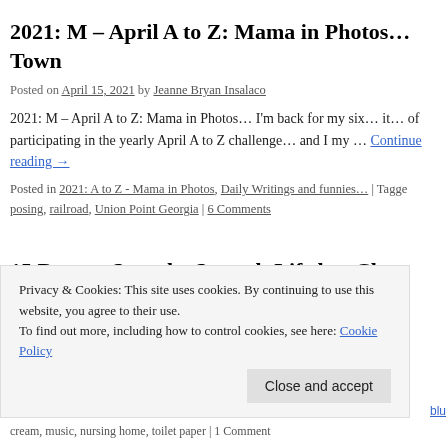2021: M – April A to Z: Mama in Photos… Town
Posted on April 15, 2021 by Jeanne Bryan Insalaco
2021: M – April A to Z: Mama in Photos… I'm back for my six… it… of participating in the yearly April A to Z challenge… and I my … Continue reading →
Posted in 2021: A to Z - Mama in Photos, Daily Writings and funnies... | Tagged posing, railroad, Union Point Georgia | 6 Comments
15 Days… Stop the Spread: Life has Chan
Posted on March 20, 2020 by Jeanne Bryan Insalaco
Privacy & Cookies: This site uses cookies. By continuing to use this website, you agree to their use.
To find out more, including how to control cookies, see here: Cookie Policy
cream, music, nursing home, toilet paper | 1 Comment